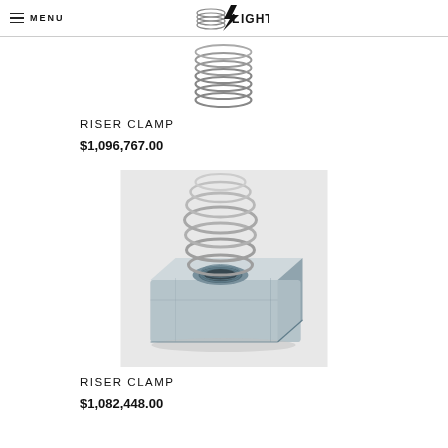MENU / LIGHTNING
[Figure (illustration): Partial view of a riser clamp spring/coil product image (cropped at top of page)]
RISER CLAMP
$1,096,767.00
[Figure (photo): Photo of a riser clamp: a rectangular zinc-plated metal block with a threaded nut insert and a steel spring coil on top]
RISER CLAMP
$1,082,448.00